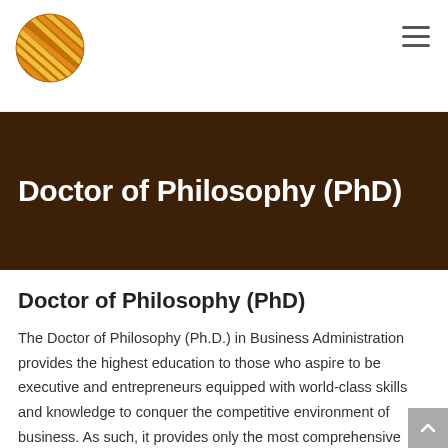[Figure (logo): Circular logo with orange and gold diagonal stripe pattern on a globe-like sphere]
Doctor of Philosophy (PhD)
Doctor of Philosophy (PhD)
The Doctor of Philosophy (Ph.D.) in Business Administration provides the highest education to those who aspire to be executive and entrepreneurs equipped with world-class skills and knowledge to conquer the competitive environment of business. As such, it provides only the most comprehensive training on various managerial theories and practices which encompass research methodologies and other related